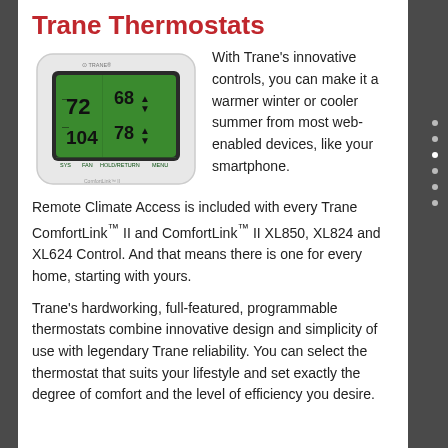Trane Thermostats
[Figure (photo): Photo of a Trane ComfortLink II thermostat with green LCD display showing temperature readings of 72, 68, 104, and 78 degrees]
With Trane’s innovative controls, you can make it a warmer winter or cooler summer from most web-enabled devices, like your smartphone. Remote Climate Access is included with every Trane ComfortLink™ II and ComfortLink™ II XL850, XL824 and XL624 Control. And that means there is one for every home, starting with yours.
Trane’s hardworking, full-featured, programmable thermostats combine innovative design and simplicity of use with legendary Trane reliability. You can select the thermostat that suits your lifestyle and set exactly the degree of comfort and the level of efficiency you desire.